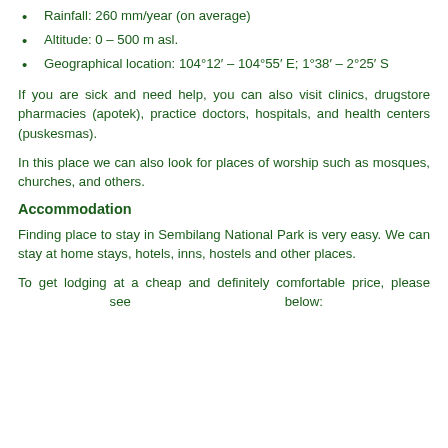Rainfall: 260 mm/year (on average)
Altitude: 0 – 500 m asl.
Geographical location: 104°12′ – 104°55′ E; 1°38′ – 2°25′ S
If you are sick and need help, you can also visit clinics, drugstore pharmacies (apotek), practice doctors, hospitals, and health centers (puskesmas).
In this place we can also look for places of worship such as mosques, churches, and others.
Accommodation
Finding place to stay in Sembilang National Park is very easy. We can stay at home stays, hotels, inns, hostels and other places.
To get lodging at a cheap and definitely comfortable price, please see below: